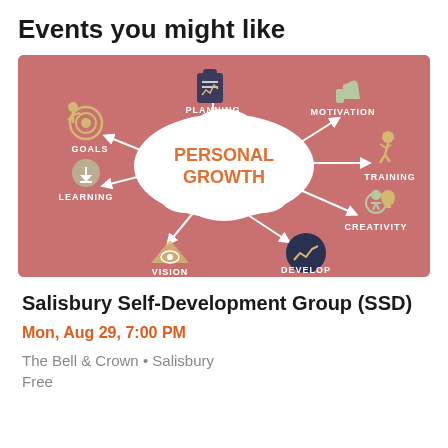Events you might like
[Figure (infographic): Personal Growth mind-map infographic on a salmon/rose background. Central white cloud shape with 'PERSONAL GROWTH' text in orange. Surrounding icons and labels: GOALS (top-left, target icon with figure), PLANNING (top-center, clipboard icon), MOTIVATION (top-right, thumbs-up icon), TRAINING (right, running figure), CREATIVITY (lower-right, lightbulb/person icon), DEVELOP (bottom-center-right, dark circle with upward arrow chart), VISION (bottom-left-center, eye/triangle icon), LEARNING (left, downloading figure icon). White arrows connect the cloud to each concept.]
Salisbury Self-Development Group (SSD)
Mon, Aug 29, 7:00 PM
The Bell & Crown • Salisbury
Free